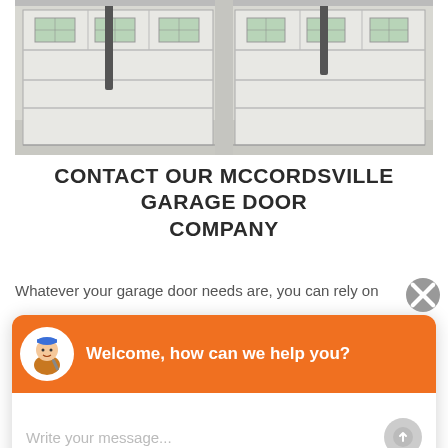[Figure (photo): Interior view of a two-car garage showing white sectional garage doors from inside, with overhead door opener rail and windows near the top of each door.]
CONTACT OUR MCCORDSVILLE GARAGE DOOR COMPANY
Whatever your garage door needs are, you can rely on
[Figure (screenshot): Live chat widget popup with orange header showing a cartoon mechanic avatar and the text 'Welcome, how can we help you?' along with a message input area reading 'Write your message...' and a send button.]